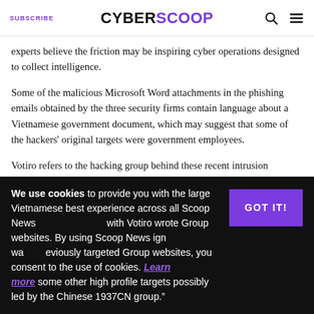SUBSCRIBE | CYBERSCOOP
experts believe the friction may be inspiring cyber operations designed to collect intelligence.
Some of the malicious Microsoft Word attachments in the phishing emails obtained by the three security firms contain language about a Vietnamese government document, which may suggest that some of the hackers' original targets were government employees.
Votiro refers to the hacking group behind these recent intrusion attempts as “1973CN.” According to Votiro, 1973CN was also responsible for a targeted, highly-publicized cyberattack against Vietnam Airlines.
“Over the last few weeks, we … uncovered several indicators that were researched and found to be related to a large Vietnamese ... with Votiro wrote ... ign wa... previously targeted ... some other high profile targets possibly led by the Chinese 1937CN group.”
We use cookies to provide you with the best experience across all Scoop News Group websites. By using Scoop News Group websites, you consent to the use of cookies. Learn more